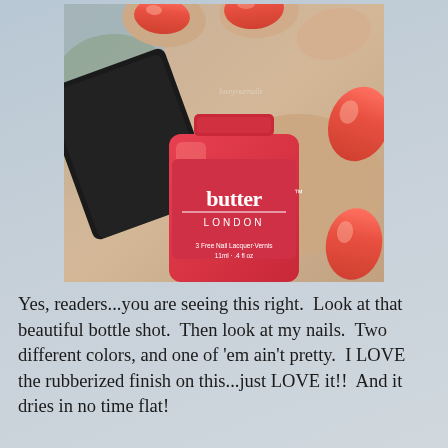[Figure (photo): Close-up photo of a hand holding a butter LONDON nail polish bottle (coral/salmon color, labeled '3 Free Nail Lacquer Vernis, 11ml - .4 fl oz') with nails painted in a coral color. The background shows a blurred outdoor scene.]
Yes, readers...you are seeing this right.  Look at that beautiful bottle shot.  Then look at my nails.  Two different colors, and one of 'em ain't pretty.  I LOVE the rubberized finish on this...just LOVE it!!  And it dries in no time flat!